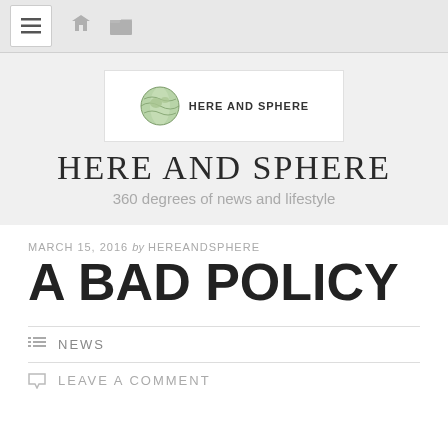Toolbar with menu, pin, and folder icons
[Figure (logo): Here and Sphere logo with globe icon and site name text]
HERE AND SPHERE
360 degrees of news and lifestyle
MARCH 15, 2016 by HEREANDSPHERE
A BAD POLICY
NEWS
LEAVE A COMMENT